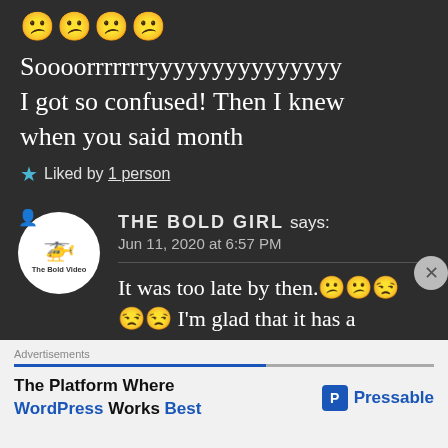😕😕😕😕
Soooorrrrrrryyyyyyyyyyyyyyy I got so confused! Then I knew when you said month
★ Liked by 1 person
THE BOLD GIRL says: Jun 11, 2020 at 6:57 PM
It was too late by then.😕😕😒😒😒 I'm glad that it has a delete option. Else people
[Figure (screenshot): Advertisement banner: The Platform Where WordPress Works Best - Pressable]
Advertisements